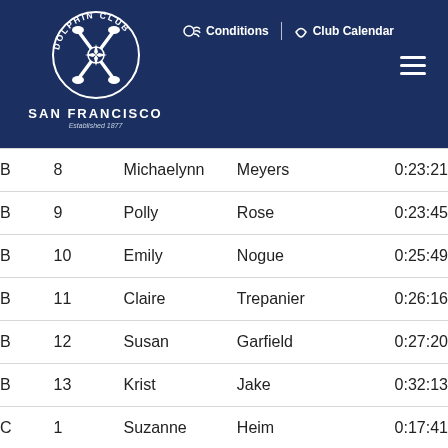[Figure (logo): Dolphin Club San Francisco logo, circular emblem with crossed oars and dolphin, white on navy blue background, text: SAN FRANCISCO, Established 1877]
Conditions | Club Calendar (navigation links with icons)
| Cat | Num | First | Last | Time |
| --- | --- | --- | --- | --- |
| B | 8 | Michaelynn | Meyers | 0:23:21 |
| B | 9 | Polly | Rose | 0:23:45 |
| B | 10 | Emily | Nogue | 0:25:49 |
| B | 11 | Claire | Trepanier | 0:26:16 |
| B | 12 | Susan | Garfield | 0:27:20 |
| B | 13 | Krist | Jake | 0:32:13 |
| C | 1 | Suzanne | Heim | 0:17:41 |